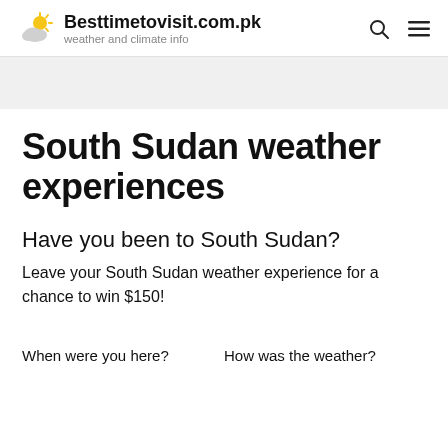Besttimetovisit.com.pk — weather and climate info
South Sudan weather experiences
Have you been to South Sudan?
Leave your South Sudan weather experience for a chance to win $150!
When were you here?
How was the weather?